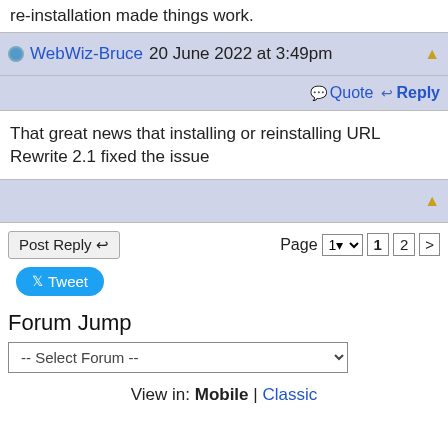re-installation made things work.
WebWiz-Bruce 20 June 2022 at 3:49pm
Quote  Reply
That great news that installing or reinstalling URL Rewrite 2.1 fixed the issue
Post Reply   Page 1 2 >
Tweet
Forum Jump
-- Select Forum --
View in: Mobile | Classic